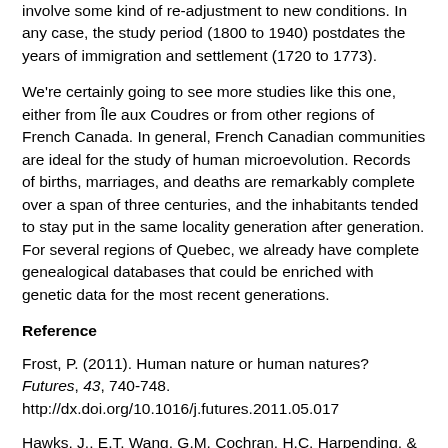involve some kind of re-adjustment to new conditions. In any case, the study period (1800 to 1940) postdates the years of immigration and settlement (1720 to 1773).
We're certainly going to see more studies like this one, either from Île aux Coudres or from other regions of French Canada. In general, French Canadian communities are ideal for the study of human microevolution. Records of births, marriages, and deaths are remarkably complete over a span of three centuries, and the inhabitants tended to stay put in the same locality generation after generation. For several regions of Quebec, we already have complete genealogical databases that could be enriched with genetic data for the most recent generations.
Reference
Frost, P. (2011). Human nature or human natures? Futures, 43, 740-748. http://dx.doi.org/10.1016/j.futures.2011.05.017
Hawks, J., E.T. Wang, G.M. Cochran, H.C. Harpending, & R.K. Moyzis. (2007). Recent acceleration of human adaptive evolution. Proceedings of the National Academy of Sci...